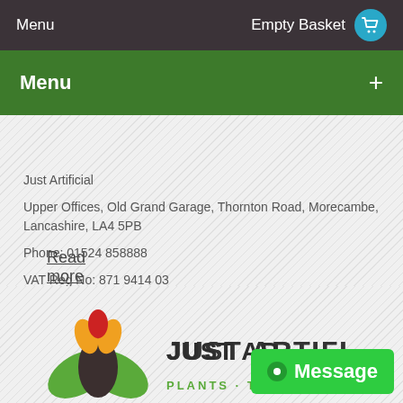Menu   Empty Basket
Menu +
Read more about us
Just Artificial
Upper Offices, Old Grand Garage, Thornton Road, Morecambe, Lancashire, LA4 5PB
Phone: 01524 858888
VAT Reg No: 871 9414 03
Company Reg No: 05988078
justartificial.co.uk is a trading name of Just Artificial Ltd
Rated 4.23/5, based on 627 reviews
[Figure (logo): Just Artificial logo with stylized plant/leaf graphic and text JUST ARTIFICIAL PLANTS TREES]